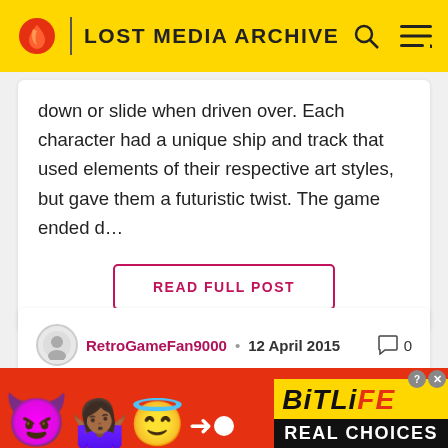LOST MEDIA ARCHIVE
down or slide when driven over. Each character had a unique ship and track that used elements of their respective art styles, but gave them a futuristic twist. The game ended d…
READ FULL POST
RetroGameFan9000 • 12 April 2015  0
My Most Wanted Lost Stuff
[Figure (screenshot): BitLife advertisement banner with emoji characters and 'REAL CHOICES' text]